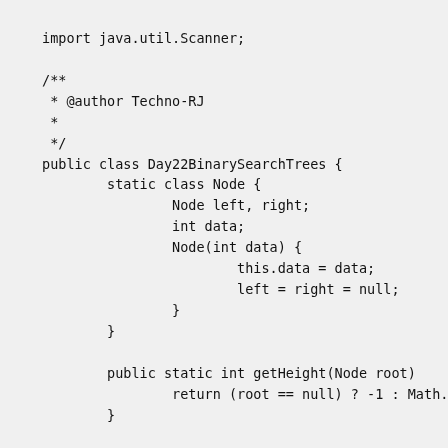import java.util.Scanner;

/**
 * @author Techno-RJ
 *
 */
public class Day22BinarySearchTrees {
        static class Node {
                Node left, right;
                int data;
                Node(int data) {
                        this.data = data;
                        left = right = null;
                }
        }

        public static int getHeight(Node root)
                return (root == null) ? -1 : Math.r
        }

        public static Node insert(Node root, in